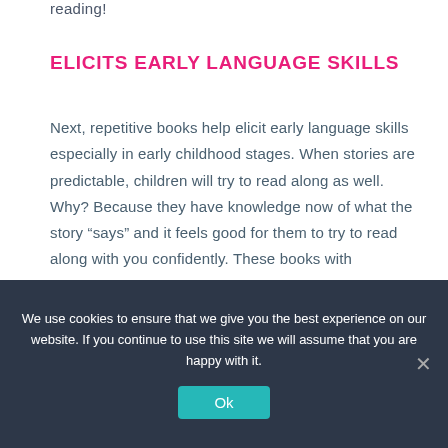reading!
ELICITS EARLY LANGUAGE SKILLS
Next, repetitive books help elicit early language skills especially in early childhood stages. When stories are predictable, children will try to read along as well. Why? Because they have knowledge now of what the story “says” and it feels good for them to try to read along with you confidently. These books with predictable, repeated
We use cookies to ensure that we give you the best experience on our website. If you continue to use this site we will assume that you are happy with it.